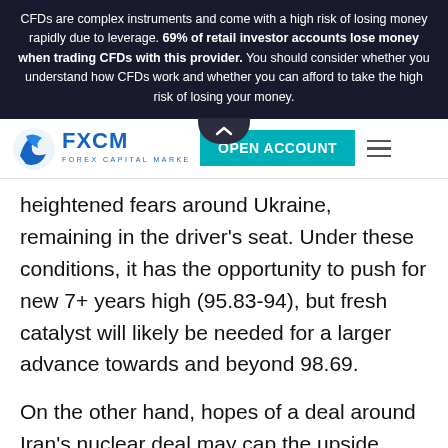CFDs are complex instruments and come with a high risk of losing money rapidly due to leverage. 69% of retail investor accounts lose money when trading CFDs with this provider. You should consider whether you understand how CFDs work and whether you can afford to take the high risk of losing your money.
[Figure (logo): FXCM Forex Capital Markets logo with blue swoosh icon and OPEN ACCOUNT teal button and hamburger menu icon]
heightened fears around Ukraine, remaining in the driver's seat. Under these conditions, it has the opportunity to push for new 7+ years high (95.83-94), but fresh catalyst will likely be needed for a larger advance towards and beyond 98.69.
On the other hand, hopes of a deal around Iran's nuclear deal may cap the upside, while